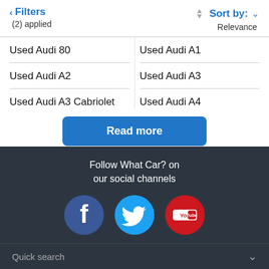< Filters (2) applied | Sort by: Relevance
Used Audi 80
Used Audi A1
Used Audi A2
Used Audi A3
Used Audi A3 Cabriolet
Used Audi A4
Read more
Follow What Car? on our social channels
[Figure (infographic): Social media icons: Facebook (blue circle with f), Twitter (light blue circle with bird), YouTube (red circle with You Tube logo)]
Quick search